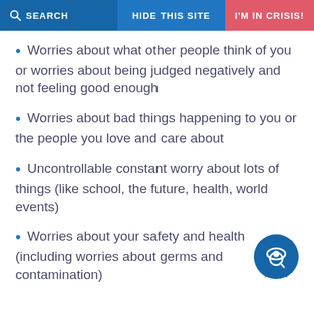SEARCH | HIDE THIS SITE | I'M IN CRISIS!
Worries about what other people think of you or worries about being judged negatively and not feeling good enough
Worries about bad things happening to you or the people you love and care about
Uncontrollable constant worry about lots of things (like school, the future, health, world events)
Worries about your safety and health (including worries about germs and contamination)
[Figure (logo): Blue circular chat bubble icon with a magnifying glass and eye symbol inside]